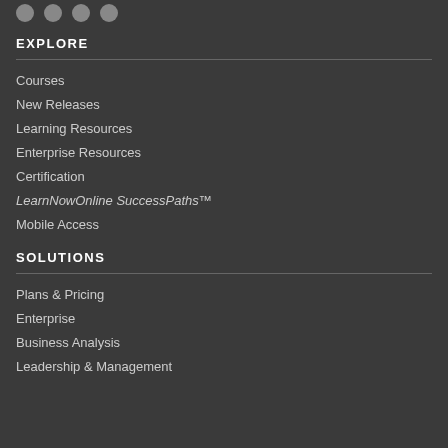EXPLORE
Courses
New Releases
Learning Resources
Enterprise Resources
Certification
LearnNowOnline SuccessPaths™
Mobile Access
SOLUTIONS
Plans & Pricing
Enterprise
Business Analysis
Leadership & Management